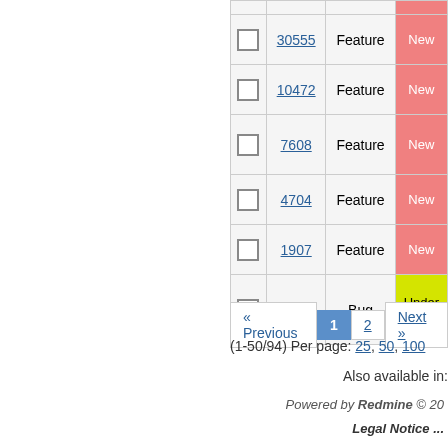|  | # | Type | Status |
| --- | --- | --- | --- |
|  | 30555 | Feature | New |
|  | 10472 | Feature | New |
|  | 7608 | Feature | New |
|  | 4704 | Feature | New |
|  | 1907 | Feature | New |
|  | 51239 | Bug | Under Review |
« Previous  1  2  Next »
(1-50/94) Per page: 25, 50, 100
Also available in:
Powered by Redmine © 20...
Legal Notice ...